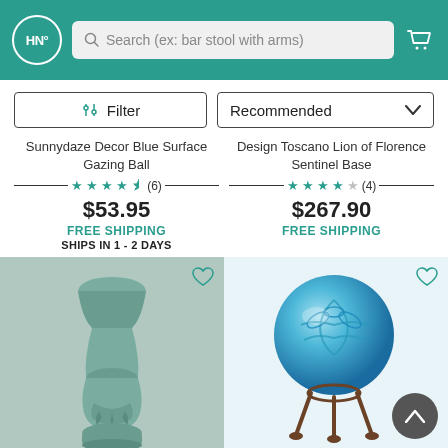HN Search (ex: bar stool with arms)
Filter | Recommended
Sunnydaze Decor Blue Surface Gazing Ball
Design Toscano Lion of Florence Sentinel Base
★★★★½ (6) $53.95 FREE SHIPPING SHIPS IN 1 - 2 DAYS
★★★★☆ (4) $267.90 FREE SHIPPING
[Figure (photo): Green/teal ceramic pedestal base for gazing ball]
[Figure (photo): Blue decorative glass gazing ball with dragonfly pattern on metal stand]